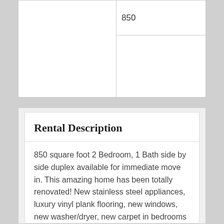|  | 850 |  |
Rental Description
850 square foot 2 Bedroom, 1 Bath side by side duplex available for immediate move in. This amazing home has been totally renovated! New stainless steel appliances, luxury vinyl plank flooring, new windows, new washer/dryer, new carpet in bedrooms and new garage door opener. Large yard at the end of a cul de sac, with very little traffic and Jenison schools are just a few of this home's many attractions. It also includes a new over-